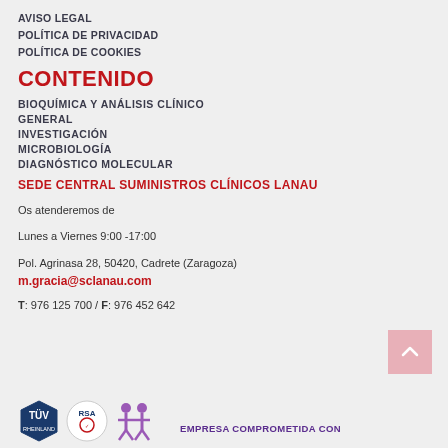AVISO LEGAL
POLÍTICA DE PRIVACIDAD
POLÍTICA DE COOKIES
CONTENIDO
BIOQUÍMICA Y ANÁLISIS CLÍNICO
GENERAL
INVESTIGACIÓN
MICROBIOLOGÍA
DIAGNÓSTICO MOLECULAR
SEDE CENTRAL SUMINISTROS CLÍNICOS LANAU
Os atenderemos de
Lunes a Viernes 9:00 -17:00
Pol. Agrinasa 28, 50420, Cadrete (Zaragoza)
m.gracia@sclanau.com
T: 976 125 700 / F: 976 452 642
[Figure (logo): TÜV logo, RSA logo, and figure icon at the bottom of the page]
EMPRESA COMPROMETIDA CON